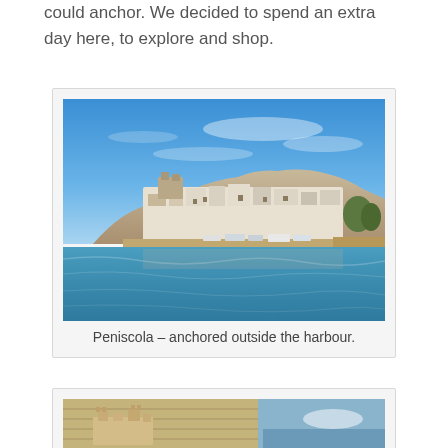could anchor. We decided to spend an extra day here, to explore and shop.
[Figure (photo): Coastal town of Peniscola viewed from the water, with white buildings on a rocky promontory under a bright blue sky, harbour with boats in the foreground]
Peniscola – anchored outside the harbour.
[Figure (photo): Partial view of a sandy or wooden model/object on a boat deck with blue water or sky in background]